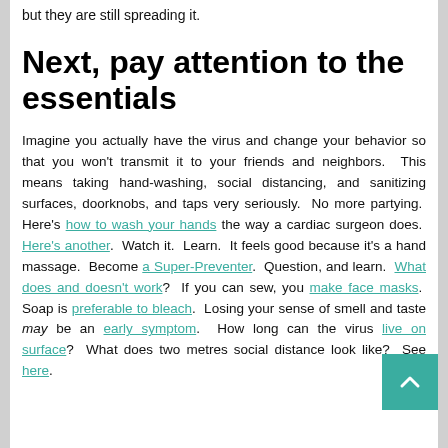but they are still spreading it.
Next, pay attention to the essentials
Imagine you actually have the virus and change your behavior so that you won't transmit it to your friends and neighbors. This means taking hand-washing, social distancing, and sanitizing surfaces, doorknobs, and taps very seriously. No more partying. Here's how to wash your hands the way a cardiac surgeon does. Here's another. Watch it. Learn. It feels good because it's a hand massage. Become a Super-Preventer. Question, and learn. What does and doesn't work? If you can sew, you make face masks. Soap is preferable to bleach. Losing your sense of smell and taste may be an early symptom. How long can the virus live on surfaces? What does two metres social distance look like? See here.